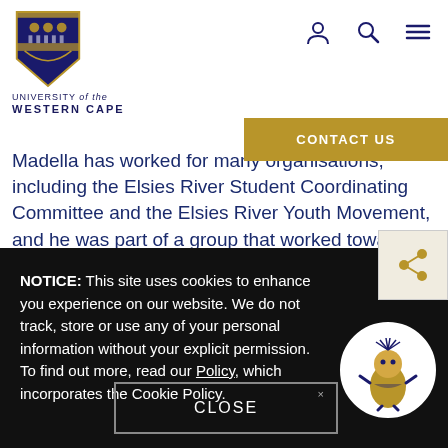[Figure (logo): University of the Western Cape crest/shield logo in navy blue and gold]
UNIVERSITY of the WESTERN CAPE
[Figure (infographic): Navigation icons: person/account, search/magnifier, hamburger menu]
[Figure (other): CONTACT US gold button]
Madella has worked for many organisations, including the Elsies River Student Coordinating Committee and the Elsies River Youth Movement, and he was part of a group that worked towards the establishment of the Elsies River Community Advice Office in 1985. He joined the National Education Health and Allied Workers
[Figure (other): Share icon in a box]
NOTICE: This site uses cookies to enhance you experience on our website. We do not track, store or use any of your personal information without your explicit permission. To find out more, read our Policy, which incorporates the Cookie Policy.
[Figure (illustration): UWC mascot character (Fynbos-themed figure) in a white circle]
CLOSE ×